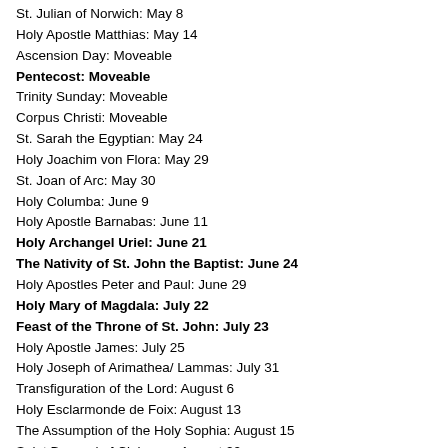St. Julian of Norwich: May 8
Holy Apostle Matthias: May 14
Ascension Day: Moveable
Pentecost: Moveable
Trinity Sunday: Moveable
Corpus Christi: Moveable
St. Sarah the Egyptian: May 24
Holy Joachim von Flora: May 29
St. Joan of Arc: May 30
Holy Columba: June 9
Holy Apostle Barnabas: June 11
Holy Archangel Uriel: June 21
The Nativity of St. John the Baptist: June 24
Holy Apostles Peter and Paul: June 29
Holy Mary of Magdala: July 22
Feast of the Throne of St. John: July 23
Holy Apostle James: July 25
Holy Joseph of Arimathea/ Lammas: July 31
Transfiguration of the Lord: August 6
Holy Esclarmonde de Foix: August 13
The Assumption of the Holy Sophia: August 15
Saint Bernard of Clairvaux: August 20
Holy Apostle Bartholomew: August 24
The Descent of the Holy Sophia: September 8
St. Hildegard of Bingen: September 17
Holy Martinez de Pasqually: September 20
Holy Apostle Matthew: September 21
Restoration Day: September 22